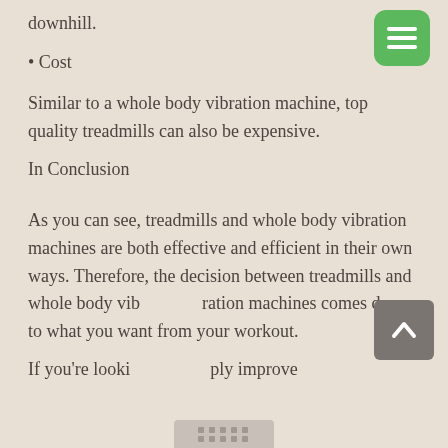downhill.
• Cost
Similar to a whole body vibration machine, top quality treadmills can also be expensive.
In Conclusion
As you can see, treadmills and whole body vibration machines are both effective and efficient in their own ways. Therefore, the decision between treadmills and whole body vibration machines comes down to what you want from your workout.
If you're looki… ply improve